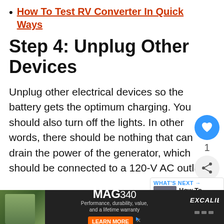How To Test RV Converter In Quick Ways
Step 4: Unplug Other Devices
Unplug other electrical devices so the battery gets the optimum charging. You should also turn off the lights. In other words, there should be nothing that can drain the power of the generator, which should be connected to a 120-V AC outlet
[Figure (screenshot): UI overlay with heart/like button showing blue circle with heart icon, count '1', and share icon below]
[Figure (screenshot): What's Next widget showing 'WHAT'S NEXT →' label and 'How To Charge RV...' title with thumbnail image]
[Figure (screenshot): Advertisement banner for MAG340 product with person holding crossbow, 'Performance, durability, value, and a lifetime warranty', LEARN MORE button, Excalibur logo]